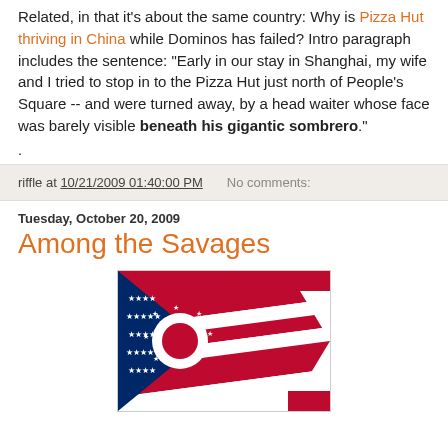Related, in that it's about the same country: Why is Pizza Hut thriving in China while Dominos has failed? Intro paragraph includes the sentence: "Early in our stay in Shanghai, my wife and I tried to stop in to the Pizza Hut just north of People's Square -- and were turned away, by a head waiter whose face was barely visible beneath his gigantic sombrero."
.
riffle at 10/21/2009 01:40:00 PM   No comments:
Tuesday, October 20, 2009
Among the Savages
[Figure (photo): Ohio state flag — blue triangle with white and red stripes, white circle with red disc, and white stars on blue field]